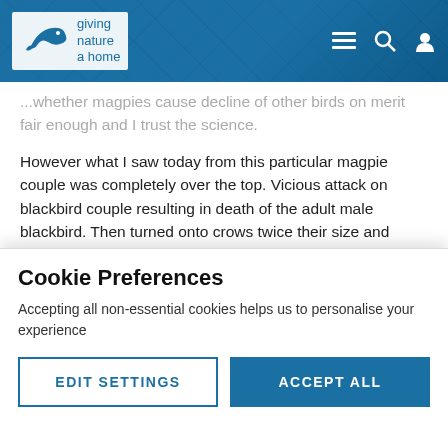RSPB - giving nature a home
...whether magpies cause decline of other birds on merit fair enough and I trust the science.
However what I saw today from this particular magpie couple was completely over the top. Vicious attack on blackbird couple resulting in death of the adult male blackbird. Then turned onto crows twice their size and pecked them away. We haven't seen the crows since.
Now they're bouncing from rooftop to rooftop looking for
Cookie Preferences
Accepting all non-essential cookies helps us to personalise your experience
EDIT SETTINGS
ACCEPT ALL